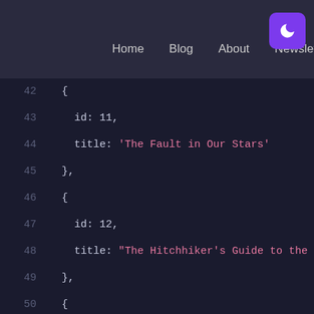[Figure (screenshot): Code editor screenshot showing JavaScript/JSON array of book objects with ids and titles, lines 39-60, with a navigation bar overlay showing Home, Blog, About, Newsletter links and a purple moon/dark-mode toggle button]
Home   Blog   About   Newsletter
39  id: 10,
40
41  },
42  {
43    id: 11,
44    title: 'The Fault in Our Stars'
45  },
46  {
47    id: 12,
48    title: "The Hitchhiker's Guide to the Galaxy"
49  },
50  {
51    id: 13,
52    title: 'The Giving Tree'
53  },
54  {
55    id: 14,
56    title: 'Wuthering Heights'
57  },
58  {
59    id: 15,
60    title: 'The Da Vinci Code'